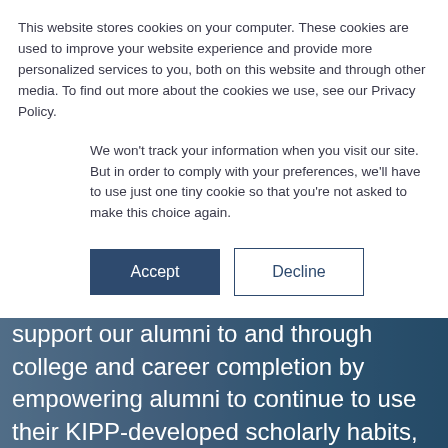This website stores cookies on your computer. These cookies are used to improve your website experience and provide more personalized services to you, both on this website and through other media. To find out more about the cookies we use, see our Privacy Policy.
We won't track your information when you visit our site. But in order to comply with your preferences, we'll have to use just one tiny cookie so that you're not asked to make this choice again.
KIPP Forward honors our promise to support our alumni to and through college and career completion by empowering alumni to continue to use their KIPP-developed scholarly habits, knowledge, and qualities of character to continue advancing and engaging with our